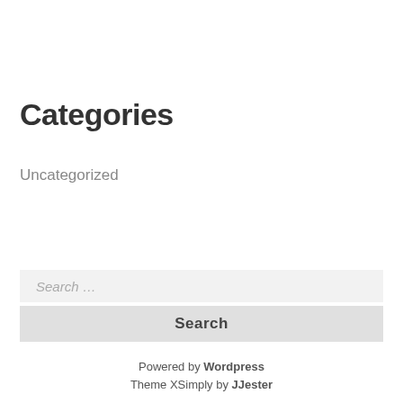Categories
Uncategorized
Search …
Search
Powered by Wordpress
Theme XSimply by JJester